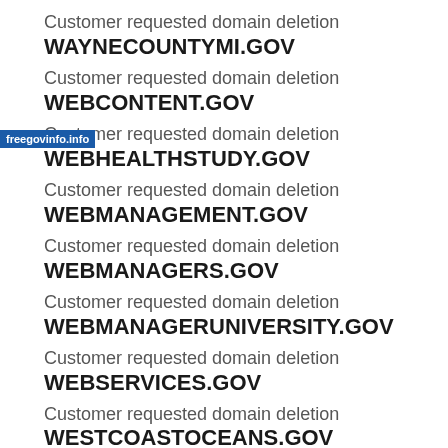Customer requested domain deletion
WAYNECOUNTYMI.GOV
Customer requested domain deletion
WEBCONTENT.GOV
Customer requested domain deletion
WEBHEALTHSTUDY.GOV
Customer requested domain deletion
WEBMANAGEMENT.GOV
Customer requested domain deletion
WEBMANAGERS.GOV
Customer requested domain deletion
WEBMANAGERUNIVERSITY.GOV
Customer requested domain deletion
WEBSERVICES.GOV
Customer requested domain deletion
WESTCOASTOCEANS.GOV
Customer requested domain deletion
WESTHAMPTONMA.GOV